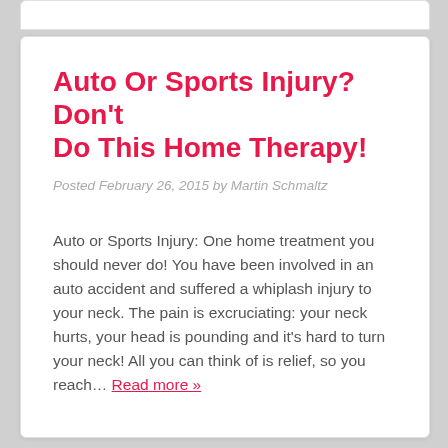Auto Or Sports Injury? Don't Do This Home Therapy!
Posted February 26, 2015 by Martin Schmaltz
Auto or Sports Injury: One home treatment you should never do! You have been involved in an auto accident and suffered a whiplash injury to your neck. The pain is excruciating: your neck hurts, your head is pounding and it's hard to turn your neck! All you can think of is relief, so you reach… Read more »